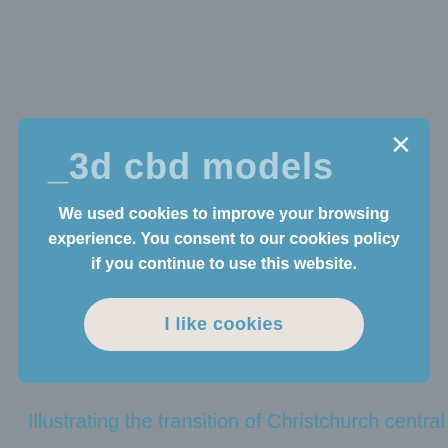_3d cbd models
Category: Architecture City
Launched: 2018
> Home_Project_3D CBD Models
Illustrating the transition of Christchurch central
[Figure (screenshot): Cookie consent dialog overlay on a website. The dialog has a blue background with an X close button in the top right. It contains text: 'We used cookies to improve your browsing experience. You consent to our cookies policy if you continue to use this website.' and a rounded button labeled 'I like cookies'.]
We used cookies to improve your browsing experience. You consent to our cookies policy if you continue to use this website.
I like cookies